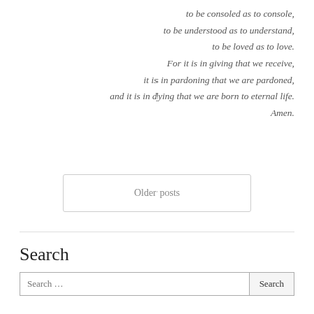to be consoled as to console,
to be understood as to understand,
to be loved as to love.
For it is in giving that we receive,
it is in pardoning that we are pardoned,
and it is in dying that we are born to eternal life.
Amen.
Older posts
Search
Search …